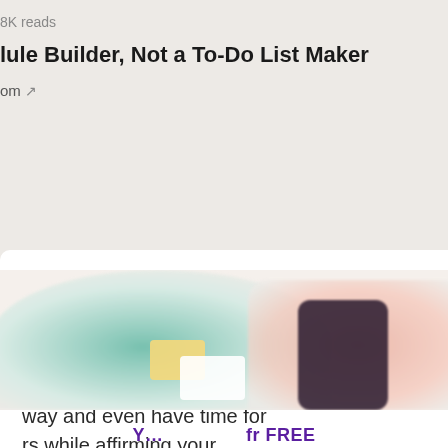8K reads
lule Builder, Not a To-Do List Maker
om
eciding what you're going u're going to do it.
ow you intend to spend w your tractions and way and even have time for rs while affirming your
[Figure (illustration): Blurred illustration of planners, sticky notes, and a phone app on a light background, with a purple call-to-action text at the bottom partially visible]